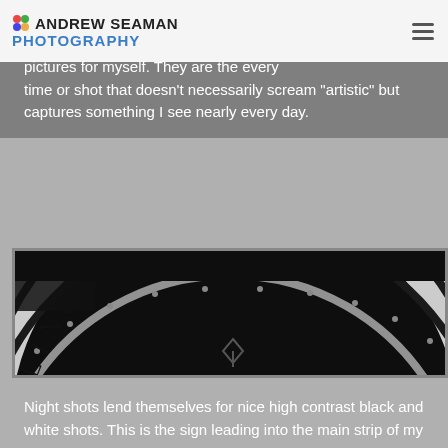ANDREW SEAMAN PHOTOGRAPHY
pictures for myself. They are the every time or shot that doesn't necessarily scream "artistic" but captures something I see nearly every day.
[Figure (photo): Black and white photograph of the Lincoln Square sign — a curved metallic arch with 'LINCOLN SQUARE' lettered on it, photographed at night against a dark background.]
Night shots lend themselves for nice high contrast black and white shots. This is the sign leading into the main strip of my